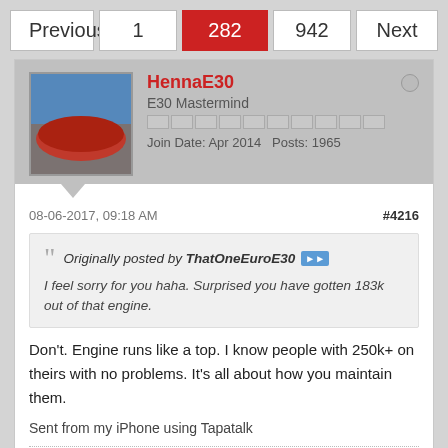Previous  1  282  942  Next
HennaE30
E30 Mastermind
Join Date: Apr 2014   Posts: 1965
08-06-2017, 09:18 AM
#4216
Originally posted by ThatOneEuroE30
I feel sorry for you haha. Surprised you have gotten 183k out of that engine.
Don't. Engine runs like a top. I know people with 250k+ on theirs with no problems. It's all about how you maintain them.
Sent from my iPhone using Tapatalk
Originally posted by...